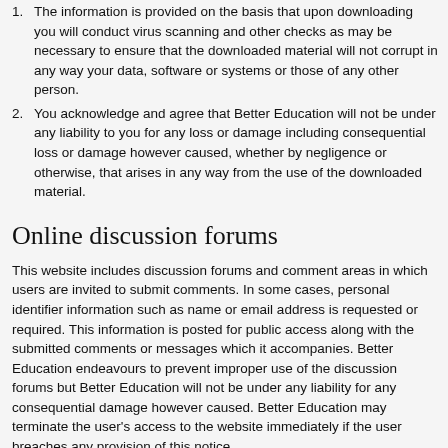1. The information is provided on the basis that upon downloading you will conduct virus scanning and other checks as may be necessary to ensure that the downloaded material will not corrupt in any way your data, software or systems or those of any other person.
2. You acknowledge and agree that Better Education will not be under any liability to you for any loss or damage including consequential loss or damage however caused, whether by negligence or otherwise, that arises in any way from the use of the downloaded material.
Online discussion forums
This website includes discussion forums and comment areas in which users are invited to submit comments. In some cases, personal identifier information such as name or email address is requested or required. This information is posted for public access along with the submitted comments or messages which it accompanies. Better Education endeavours to prevent improper use of the discussion forums but Better Education will not be under any liability for any consequential damage however caused. Better Education may terminate the user's access to the website immediately if the user breaches any provision of this notice.